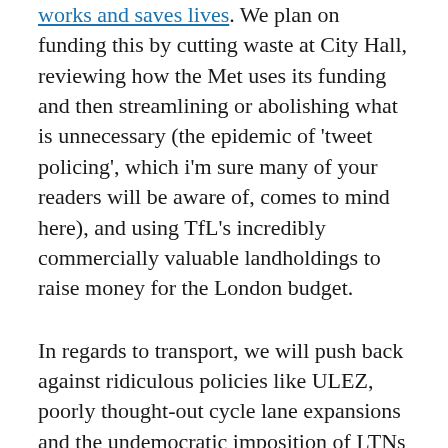works and saves lives. We plan on funding this by cutting waste at City Hall, reviewing how the Met uses its funding and then streamlining or abolishing what is unnecessary (the epidemic of 'tweet policing', which i'm sure many of your readers will be aware of, comes to mind here), and using TfL's incredibly commercially valuable landholdings to raise money for the London budget.
In regards to transport, we will push back against ridiculous policies like ULEZ, poorly thought-out cycle lane expansions and the undemocratic imposition of LTNs that cause more problems than they solve. I am utterly dumbfounded by the choice to try and reduce automobile use and shift the burden from that